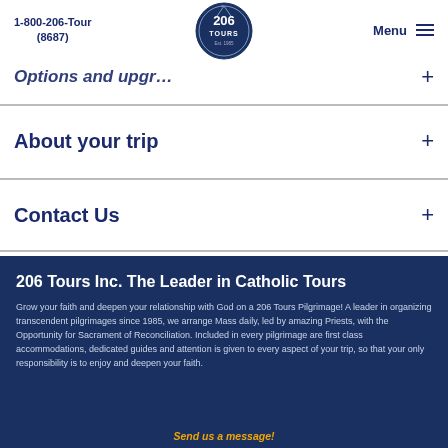1-800-206-Tour (8687) | 206 Tours Logo | Menu
Options and upgr... +
About your trip +
Contact Us +
206 Tours Inc. The Leader in Catholic Tours
Grow your faith and deepen your relationship with God on a 206 Tours Pilgrimage! A leader in organizing transcendent pilgrimages since 1985, we arrange Mass daily, led by amazing Priests, with the Opportunity for Sacrament of Reconciliation. Included in every pilgrimage are first class accommodations, dedicated guides and attention is given to every aspect of your trip, so that your only responsibility is to enjoy and deepen your faith.
Send us a message!